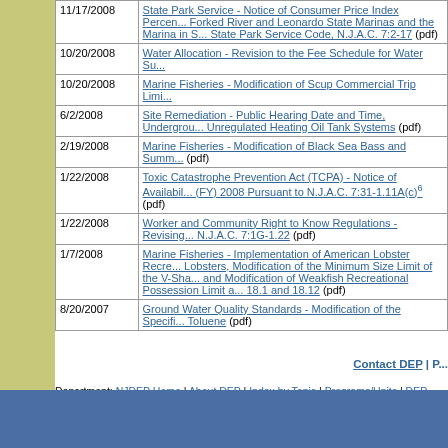| Date | Description |
| --- | --- |
| 11/17/2008 | State Park Service - Notice of Consumer Price Index Percen... Forked River and Leonardo State Marinas and the Marina in S... State Park Service Code, N.J.A.C. 7:2-17 (pdf) |
| 10/20/2008 | Water Allocation - Revision to the Fee Schedule for Water Su... |
| 10/20/2008 | Marine Fisheries - Modification of Scup Commercial Trip Limi... |
| 6/2/2008 | Site Remediation - Public Hearing Date and Time, Undergrou... Unregulated Heating Oil Tank Systems (pdf) |
| 2/19/2008 | Marine Fisheries - Modification of Black Sea Bass and Summ... (pdf) |
| 1/22/2008 | Toxic Catastrophe Prevention Act (TCPA) - Notice of Availabil... (FY) 2008 Pursuant to N.J.A.C. 7:31-1.11A(c)6 (pdf) |
| 1/22/2008 | Worker and Community Right to Know Regulations - Revising... N.J.A.C. 7:1G-1.22 (pdf) |
| 1/7/2008 | Marine Fisheries - Implementation of American Lobster Recre... Lobsters, Modification of the Minimum Size Limit of the V-Sha... and Modification of Weakfish Recreational Possession Limit a... 18.1 and 18.12 (pdf) |
| 8/20/2007 | Ground Water Quality Standards - Modification of the Specifi... Toluene (pdf) |
Contact DEP | P...
Department: NJDEP Home | About DEP | Index by Topic | Programs/Units | DEP Online
Statewide: NJ Home | Services A to Z | Departments/Agencies | FAQs
Copyright © State of New Jersey, 1996-2022
Last Updated: May 16, 2022